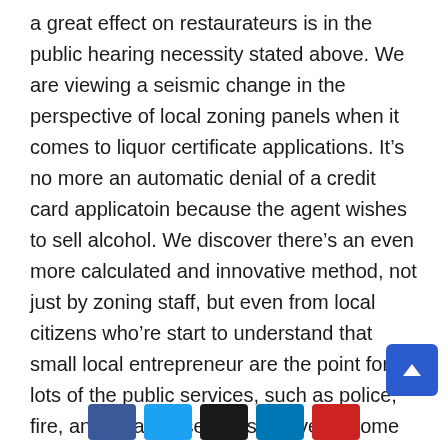a great effect on restaurateurs is in the public hearing necessity stated above. We are viewing a seismic change in the perspective of local zoning panels when it comes to liquor certificate applications. It's no more an automatic denial of a credit card applicatoin because the agent wishes to sell alcohol. We discover there's an even more calculated and innovative method, not just by zoning staff, but even from local citizens who're start to understand that small local entrepreneur are the point for lots of the public services, such as police, fire, and disaster services, we've all come to take for granted.